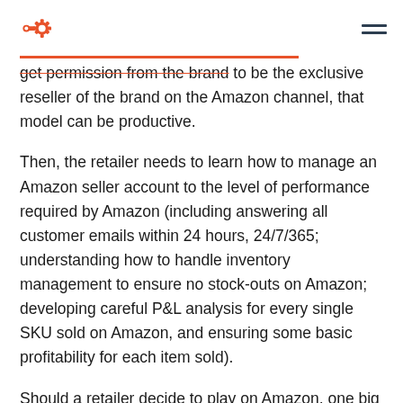HubSpot logo and navigation menu
get permission from the brand to be the exclusive reseller of the brand on the Amazon channel, that model can be productive.
Then, the retailer needs to learn how to manage an Amazon seller account to the level of performance required by Amazon (including answering all customer emails within 24 hours, 24/7/365; understanding how to handle inventory management to ensure no stock-outs on Amazon; developing careful P&L analysis for every single SKU sold on Amazon, and ensuring some basic profitability for each item sold).
Should a retailer decide to play on Amazon, one big change will be the need to invest in traffic-driving activities — either spending money on Amazon